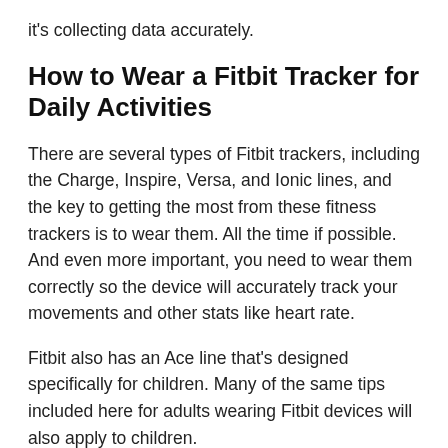it's collecting data accurately.
How to Wear a Fitbit Tracker for Daily Activities
There are several types of Fitbit trackers, including the Charge, Inspire, Versa, and Ionic lines, and the key to getting the most from these fitness trackers is to wear them. All the time if possible. And even more important, you need to wear them correctly so the device will accurately track your movements and other stats like heart rate.
Fitbit also has an Ace line that's designed specifically for children. Many of the same tips included here for adults wearing Fitbit devices will also apply to children.